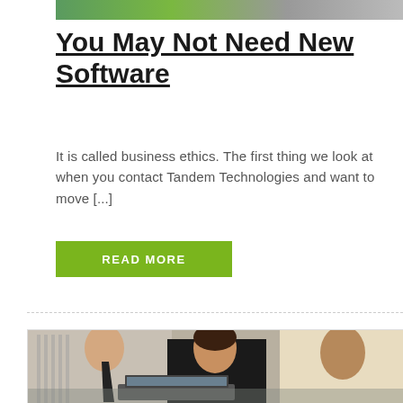[Figure (photo): Partial top image showing people in a business/group setting, partially cropped]
You May Not Need New Software
It is called business ethics. The first thing we look at when you contact Tandem Technologies and want to move [...]
READ MORE
[Figure (photo): Business professionals collaborating around a laptop computer — a man in a striped shirt with a tie on the left, a woman with dark hair in the center, and another person on the right]